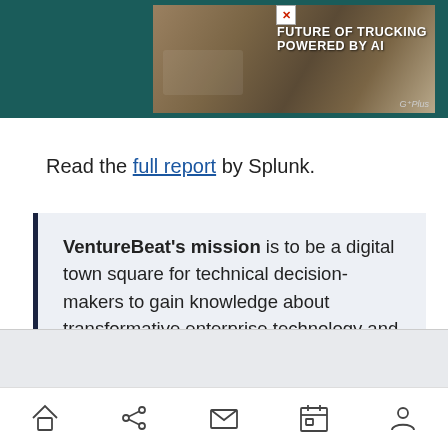[Figure (other): Advertisement banner for trucking AI product with truck image and text 'FUTURE OF TRUCKING POWERED BY AI' with G+Plus logo]
Read the full report by Splunk.
VentureBeat's mission is to be a digital town square for technical decision-makers to gain knowledge about transformative enterprise technology and transact. Discover our Briefings.
Navigation bar with home, share, mail, calendar, and profile icons